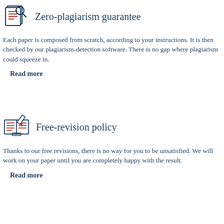[Figure (illustration): Icon of a document with a magnifying glass, red horizontal lines indicating text, dark blue outline]
Zero-plagiarism guarantee
Each paper is composed from scratch, according to your instructions. It is then checked by our plagiarism-detection software. There is no gap where plagiarism could squeeze in.
Read more
[Figure (illustration): Icon of an open notebook with red horizontal lines and a pencil, dark blue outline]
Free-revision policy
Thanks to our free revisions, there is no way for you to be unsatisfied. We will work on your paper until you are completely happy with the result.
Read more